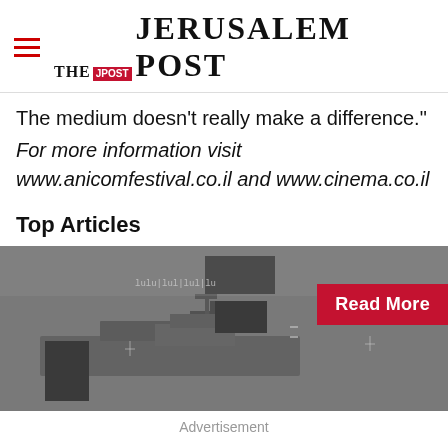THE JERUSALEM POST
The medium doesn't really make a difference."
For more information visit www.anicomfestival.co.il and www.cinema.co.il
Top Articles
[Figure (photo): Night-vision or surveillance image of a naval vessel/ship on water, with black redacted rectangles overlaid on parts of the image. A red 'Read More' button overlays the right side.]
Advertisement